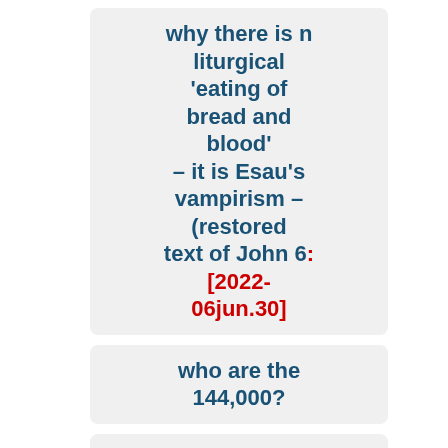why there is no liturgical 'eating of bread and blood' – it is Esau's vampirism – (restored text of John 6 [2022-06jun.30]
who are the 144,000?
were the Prophets deliberately mistranslated